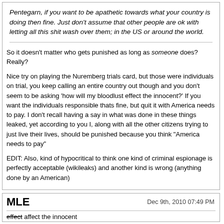Pentegarn, if you want to be apathetic towards what your country is doing then fine. Just don't assume that other people are ok with letting all this shit wash over them; in the US or around the world.
So it doesn't matter who gets punished as long as someone does? Really?

Nice try on playing the Nuremberg trials card, but those were individuals on trial, you keep calling an entire country out though and you don't seem to be asking 'how will my bloodlust effect the innocent?' If you want the individuals responsible thats fine, but quit it with America needs to pay. I don't recall having a say in what was done in these things leaked, yet according to you I, along with all the other citizens trying to just live their lives, should be punished because you think "America needs to pay"

EDIT: Also, kind of hypocritical to think one kind of criminal espionage is perfectly acceptable (wikileaks) and another kind is wrong (anything done by an American)
MLE
Dec 9th, 2010 07:49 PM
effect affect the innocent